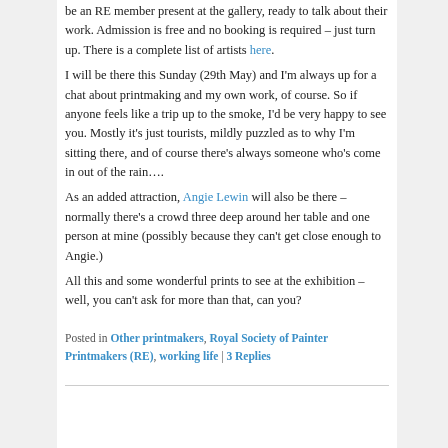be an RE member present at the gallery, ready to talk about their work. Admission is free and no booking is required – just turn up. There is a complete list of artists here.
I will be there this Sunday (29th May) and I'm always up for a chat about printmaking and my own work, of course. So if anyone feels like a trip up to the smoke, I'd be very happy to see you. Mostly it's just tourists, mildly puzzled as to why I'm sitting there, and of course there's always someone who's come in out of the rain….
As an added attraction, Angie Lewin will also be there – normally there's a crowd three deep around her table and one person at mine (possibly because they can't get close enough to Angie.)
All this and some wonderful prints to see at the exhibition – well, you can't ask for more than that, can you?
Posted in Other printmakers, Royal Society of Painter Printmakers (RE), working life | 3 Replies